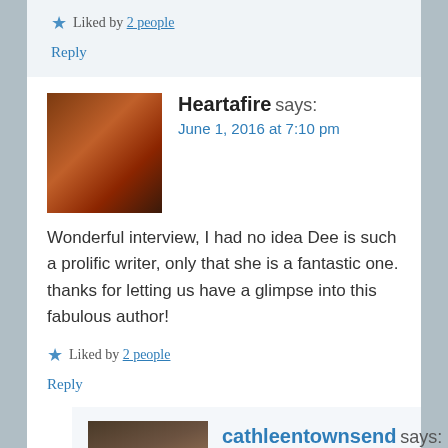Liked by 2 people
Reply
Heartafire says:
June 1, 2016 at 7:10 pm
Wonderful interview, I had no idea Dee is such a prolific writer, only that she is a fantastic one. thanks for letting us have a glimpse into this fabulous author!
Liked by 2 people
Reply
cathleentownsend says:
June 10, 2016 at 10:39 am